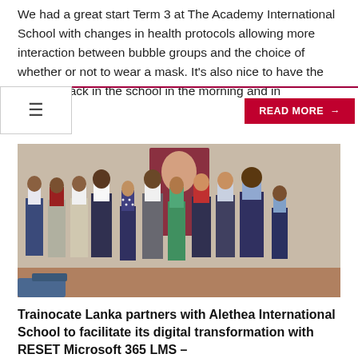We had a great start Term 3 at The Academy International School with changes in health protocols allowing more interaction between bubble groups and the choice of whether or not to wear a mask. It's also nice to have the parents back in the school in the morning and in
READ MORE →
[Figure (photo): Group photo of approximately 11 people (men and women) standing together indoors, dressed in business casual attire, in front of a banner/display background.]
Trainocate Lanka partners with Alethea International School to facilitate its digital transformation with RESET Microsoft 365 LMS –